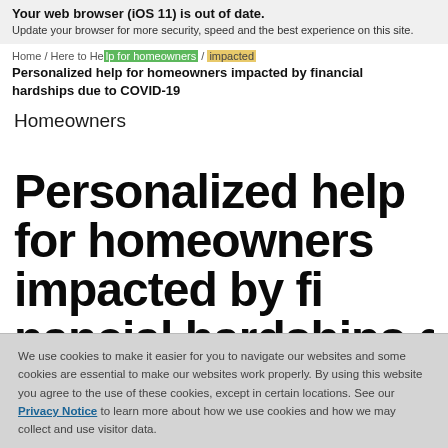Your web browser (iOS 11) is out of date. Update your browser for more security, speed and the best experience on this site.
Home / Here to Help Homeowners /
Personalized help for homeowners impacted by financial hardships due to COVID-19
Homeowners
Personalized help for homeowners impacted by financial hardships due to
We use cookies to make it easier for you to navigate our websites and some cookies are essential to make our websites work properly. By using this website you agree to the use of these cookies, except in certain locations. See our Privacy Notice to learn more about how we use cookies and how we may collect and use visitor data.